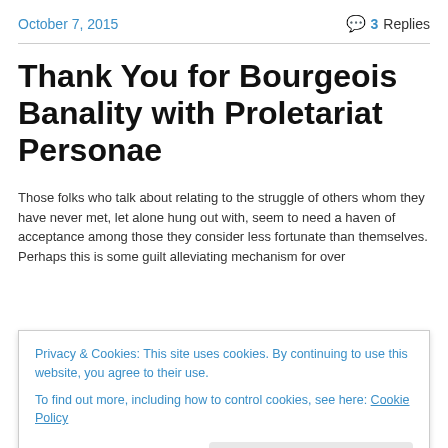October 7, 2015   3 Replies
Thank You for Bourgeois Banality with Proletariat Personae
Those folks who talk about relating to the struggle of others whom they have never met, let alone hung out with, seem to need a haven of acceptance among those they consider less fortunate than themselves.
Perhaps this is some guilt alleviating mechanism for over
Privacy & Cookies: This site uses cookies. By continuing to use this website, you agree to their use.
To find out more, including how to control cookies, see here: Cookie Policy
Close and accept
environment from which others may not have the option to escape.
Historically, many of the most creative people among us have lived